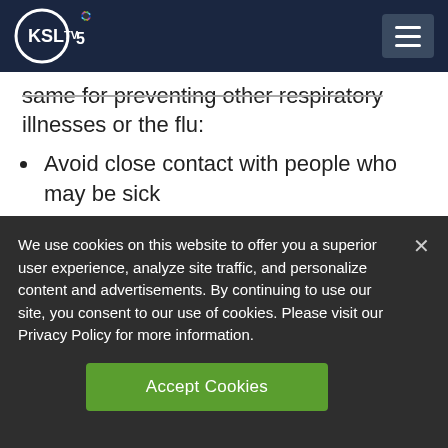KSL TV 5 – Navigation header
same for preventing other respiratory illnesses or the flu:
Avoid close contact with people who may be sick
Avoid touching your face
Stay home when you are sick
We use cookies on this website to offer you a superior user experience, analyze site traffic, and personalize content and advertisements. By continuing to use our site, you consent to our use of cookies. Please visit our Privacy Policy for more information.
Accept Cookies